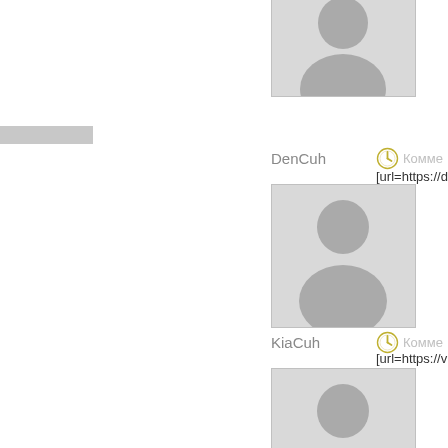[Figure (photo): Default user avatar placeholder (silhouette), partially visible at top]
DenCuh
Комме
[url=https://d
[Figure (photo): Default user avatar placeholder (silhouette) for DenCuh]
KiaCuh
Комме
[url=https://v
[Figure (photo): Default user avatar placeholder (silhouette) for KiaCuh]
PabloVek
Комме
aesthetics-
[Figure (photo): Default user avatar placeholder (silhouette) for PabloVek]
AshCuh
Комме
[url=https://v
[Figure (photo): Default user avatar placeholder (silhouette) for AshCuh, partially visible at bottom]